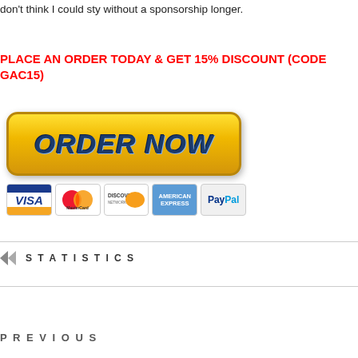don't think I could sty without a sponsorship longer.
PLACE AN ORDER TODAY & GET 15% DISCOUNT (CODE GAC15)
[Figure (illustration): Yellow 'ORDER NOW' button with dark blue bold italic text, followed by payment method icons: Visa, MasterCard, Discover, American Express, PayPal]
STATISTICS
PREVIOUS